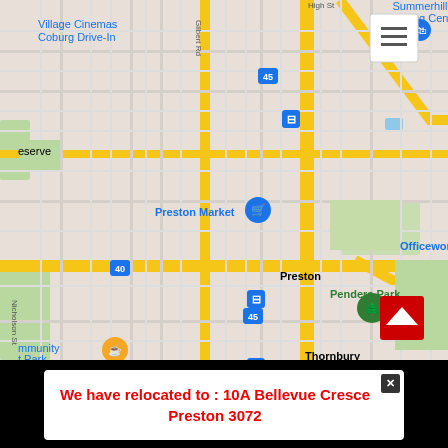[Figure (map): Google Maps screenshot showing Preston, Thornbury, and surrounding suburbs in Melbourne, Australia. Shows landmarks including Preston Market, Northland Shopping Centre, Officeworks Preston, Penders Park, Heidelberg Repatriation Hospital, BOUNCEinc Heidelberg, Summerhill Shopping Centre, Village Cinemas Coburg Drive-In, and Bunnings Fairfield. Road routes 21, 40, and 45 are marked. A hamburger menu icon appears in the top right, and a red scroll-to-top button appears in the bottom right.]
We have relocated to : 10A Bellevue Crescent Preston 3072